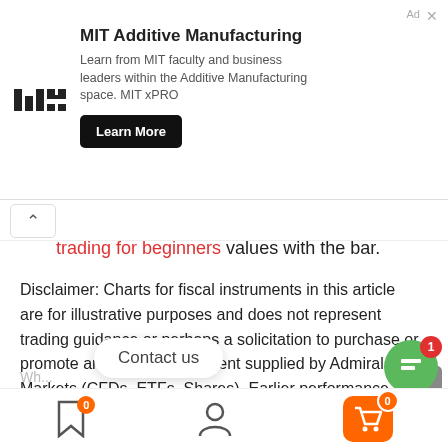[Figure (infographic): MIT Additive Manufacturing advertisement banner with MIT logo, description text, and Learn More button]
trading for beginners values with the bar.
Disclaimer: Charts for fiscal instruments in this article are for illustrative purposes and does not represent trading guidance or perhaps a solicitation to purchase or promote any money instrument supplied by Admiral Markets (CFDs, ETFs, Shares). Earlier performance is just not automatically an indication of upcoming overall performance.
Contact us